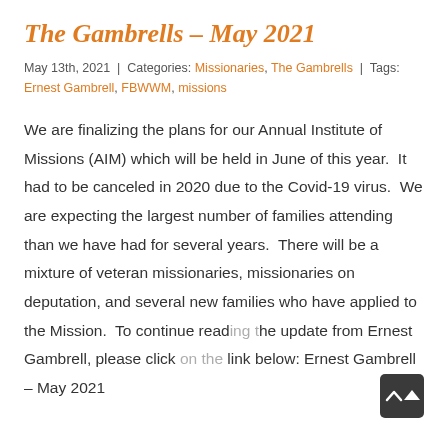The Gambrells – May 2021
May 13th, 2021 | Categories: Missionaries, The Gambrells | Tags: Ernest Gambrell, FBWWM, missions
We are finalizing the plans for our Annual Institute of Missions (AIM) which will be held in June of this year.  It had to be canceled in 2020 due to the Covid-19 virus.  We are expecting the largest number of families attending than we have had for several years.  There will be a mixture of veteran missionaries, missionaries on deputation, and several new families who have applied to the Mission.  To continue reading the update from Ernest Gambrell, please click on the link below: Ernest Gambrell – May 2021